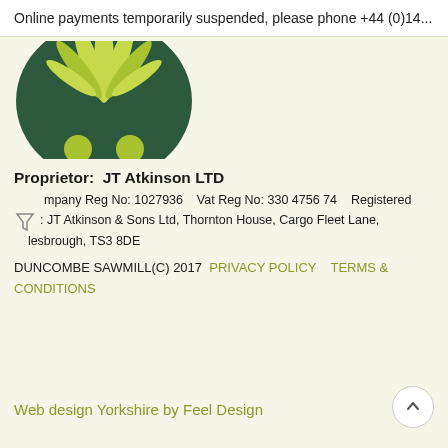Online payments temporarily suspended, please phone +44 (0)14...
[Figure (logo): Duncombe Sawmill green stylized tree/leaf logo, partially visible at top]
Proprietor:  JT Atkinson LTD
Company Reg No: 1027936    Vat Reg No: 330 4756 74    Registered Office: JT Atkinson & Sons Ltd, Thornton House, Cargo Fleet Lane, Middlesbrough, TS3 8DE
DUNCOMBE SAWMILL(C) 2017  PRIVACY POLICY   TERMS & CONDITIONS
Web design Yorkshire by Feel Design